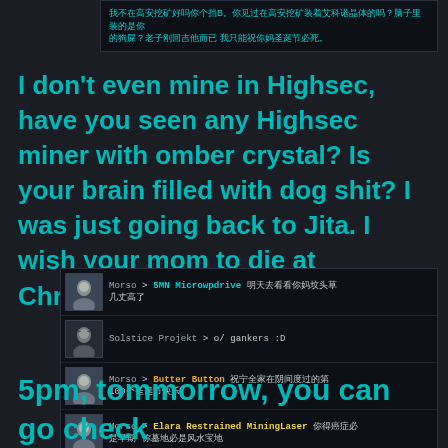[Figure (screenshot): Game chat screenshot in Chinese text on dark background at top]
I don't even mine in Highsec, have you seen any Highsec miner with omber crystal? Is your brain filled with dog shit? I was just going back to Jita. I wish your mom to die at Christmas.
[Figure (screenshot): EVE Online game chat screenshot showing messages from Morso to 5MN Microwpdrive, Solstice Projekt to o/ gankers :D, Morso to Butter Button, and Morso to Elara Restrained MiningLaser with Chinese text insults]
5pm, tommorrow, you can go check